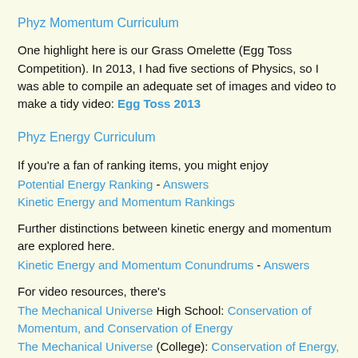Phyz Momentum Curriculum
One highlight here is our Grass Omelette (Egg Toss Competition). In 2013, I had five sections of Physics, so I was able to compile an adequate set of images and video to make a tidy video: Egg Toss 2013
Phyz Energy Curriculum
If you're a fan of ranking items, you might enjoy
Potential Energy Ranking - Answers
Kinetic Energy and Momentum Rankings
Further distinctions between kinetic energy and momentum are explored here.
Kinetic Energy and Momentum Conundrums - Answers
For video resources, there's
The Mechanical Universe High School: Conservation of Momentum, and Conservation of Energy
The Mechanical Universe (College): Conservation of Energy, Potential Energy, and Conservation of Momentum